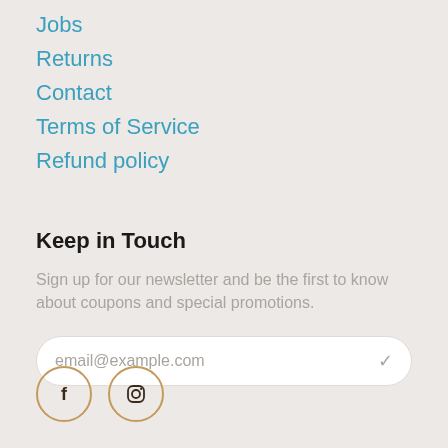Jobs
Returns
Contact
Terms of Service
Refund policy
Keep in Touch
Sign up for our newsletter and be the first to know about coupons and special promotions.
[Figure (other): Email input field with placeholder text 'email@example.com' and a checkmark icon, styled as a rounded white pill input box]
[Figure (other): Social media icons: Facebook (f) and Instagram (camera) inside circular borders with tan/gold color]